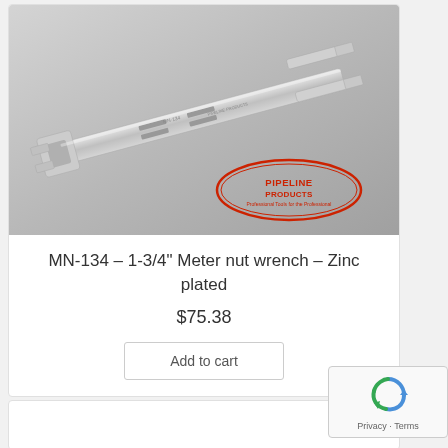[Figure (photo): Product photo of a zinc-plated 1-3/4 inch meter nut wrench (MN-134) on a grey gradient background with Pipeline Products logo in bottom right corner.]
MN-134 – 1-3/4" Meter nut wrench – Zinc plated
$75.38
Add to cart
[Figure (logo): reCAPTCHA logo with Privacy and Terms text]